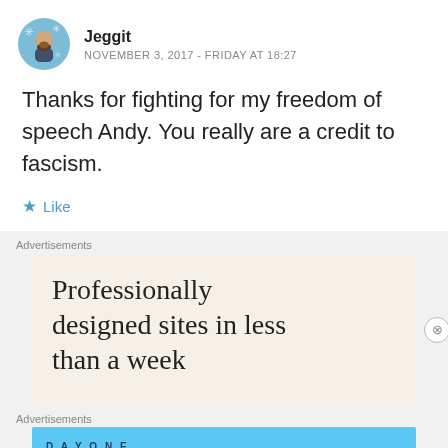[Figure (illustration): Circular avatar of user Jeggit, showing a bearded man with a blue/teal illustrated background]
Jeggit
NOVEMBER 3, 2017 - FRIDAY AT 18:27
Thanks for fighting for my freedom of speech Andy. You really are a credit to fascism.
★ Like
Advertisements
[Figure (illustration): Advertisement with beige background reading: Professionally designed sites in less than a week]
Advertisements
[Figure (illustration): Day One journaling app advertisement with blue background: The only journaling app you'll ever need.]